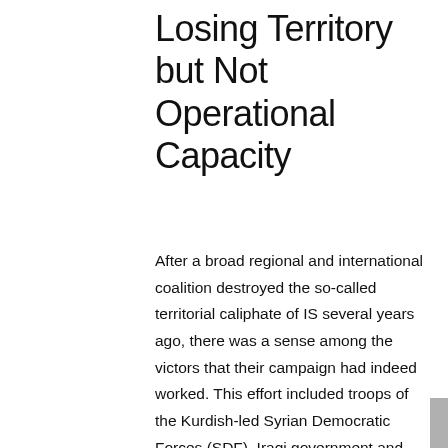Losing Territory but Not Operational Capacity
After a broad regional and international coalition destroyed the so-called territorial caliphate of IS several years ago, there was a sense among the victors that their campaign had indeed worked. This effort included troops of the Kurdish-led Syrian Democratic Forces (SDF), Iraqi government and Iraqi Kurdish forces, and US and coalition airpower plus special forces from the United States, Britain, and France. No longer was IS a threat to the people it had dominated for years, during which it